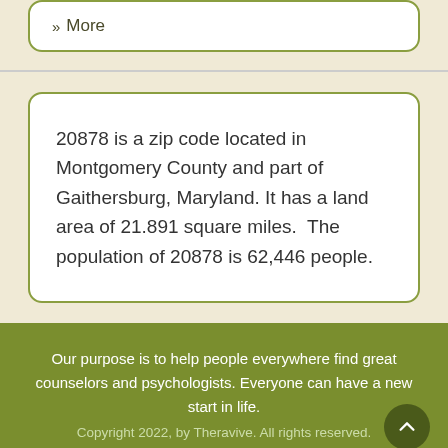» More
20878 is a zip code located in Montgomery County and part of Gaithersburg, Maryland. It has a land area of 21.891 square miles.  The population of 20878 is 62,446 people.
Our purpose is to help people everywhere find great counselors and psychologists. Everyone can have a new start in life.
Copyright 2022, by Theravive. All rights reserved.